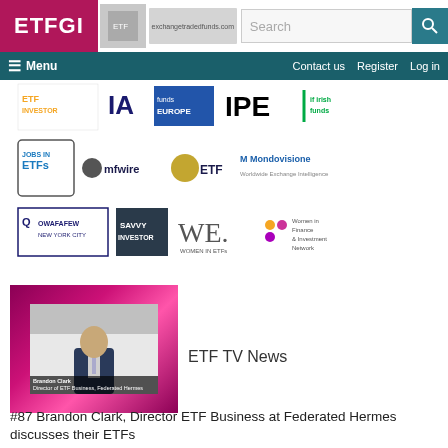ETFGI
[Figure (logo): ETFGI website header with logo, search bar and navigation menu showing Menu, Contact us, Register, Log in]
[Figure (illustration): Grid of media partner and sponsor logos including: ETF Investor, IA, Funds Europe, IPE, Irish Funds, Jobs in ETFs, MFWire, ETF (gold globe), Mondovisione, Qwafafew New York City, Savvy Investor, WE Women in ETFs, Women in Finance & Investment Network]
[Figure (photo): Video thumbnail showing Brandon Clark, Director of ETF Business, Federated Hermes, in a suit with magenta/pink decorative border]
ETF TV News
#87 Brandon Clark, Director ETF Business at Federated Hermes discusses their ETFs